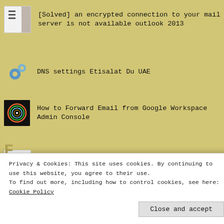[Solved] an encrypted connection to your mail server is not available outlook 2013
DNS settings Etisalat Du UAE
How to Forward Email from Google Workspace Admin Console
lapcare g41 motherboard manual
poe+ vs poe++
Privacy & Cookies: This site uses cookies. By continuing to use this website, you agree to their use. To find out more, including how to control cookies, see here: Cookie Policy
Close and accept